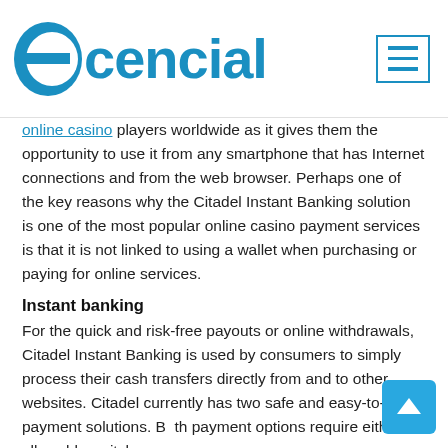ecencial [logo] [hamburger menu icon]
online casino players worldwide as it gives them the opportunity to use it from any smartphone that has Internet connections and from the web browser. Perhaps one of the key reasons why the Citadel Instant Banking solution is one of the most popular online casino payment services is that it is not linked to using a wallet when purchasing or paying for online services.
Instant banking
For the quick and risk-free payouts or online withdrawals, Citadel Instant Banking is used by consumers to simply process their cash transfers directly from and to other websites. Citadel currently has two safe and easy-to-use payment solutions. Both payment options require either an allowable switch